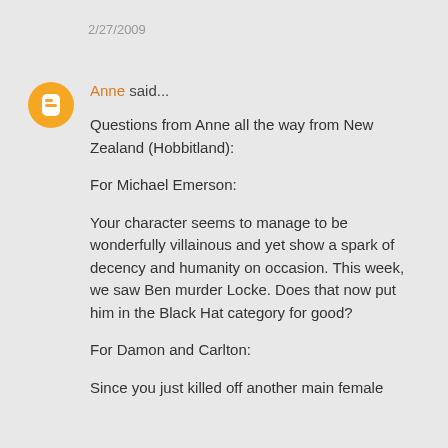2/27/2009
Anne said...
Questions from Anne all the way from New Zealand (Hobbitland):

For Michael Emerson:

Your character seems to manage to be wonderfully villainous and yet show a spark of decency and humanity on occasion. This week, we saw Ben murder Locke. Does that now put him in the Black Hat category for good?


For Damon and Carlton:

Since you just killed off another main female
[Figure (logo): Blogger orange circle avatar icon with white B letter]